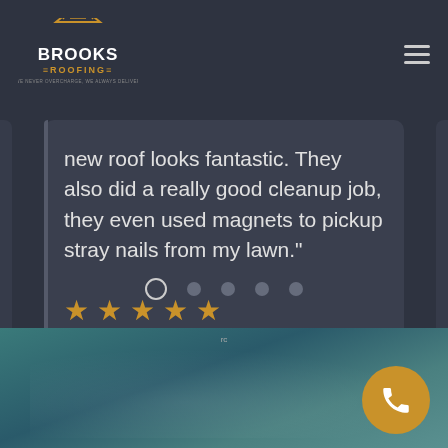[Figure (logo): Brooks Roofing logo with house/roof icon and text BROOKS ROOFING]
new roof looks fantastic. They also did a really good cleanup job, they even used magnets to pickup stray nails from my lawn.”
[Figure (other): Five gold star rating icons]
[Figure (other): Carousel navigation dots, first dot active (outlined), four inactive dots]
[Figure (photo): Teal/ocean atmospheric background image at bottom]
[Figure (other): Gold circular phone/call button in bottom right corner]